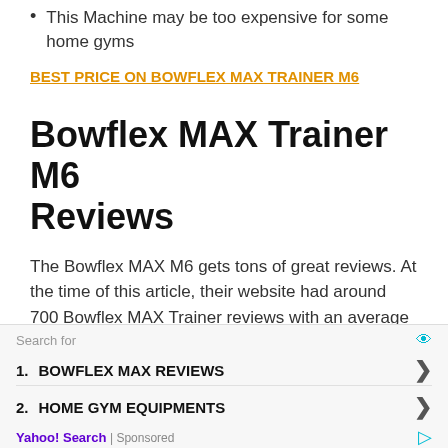This Machine may be too expensive for some home gyms
BEST PRICE ON BOWFLEX MAX TRAINER M6
Bowflex MAX Trainer M6 Reviews
The Bowflex MAX M6 gets tons of great reviews. At the time of this article, their website had around 700 Bowflex MAX Trainer reviews with an average rating of 4.7 out of 5. Click on the review below to
Search for
1. BOWFLEX MAX REVIEWS
2. HOME GYM EQUIPMENTS
Yahoo! Search | Sponsored